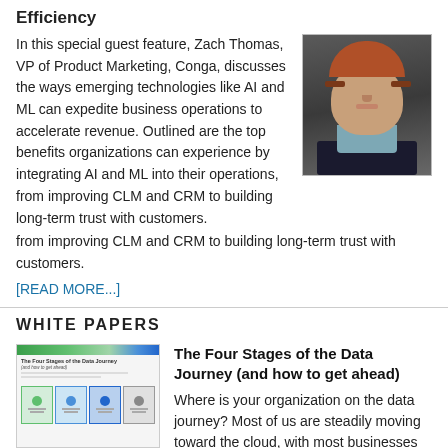Efficiency
In this special guest feature, Zach Thomas, VP of Product Marketing, Conga, discusses the ways emerging technologies like AI and ML can expedite business operations to accelerate revenue. Outlined are the top benefits organizations can experience by integrating AI and ML into their operations, from improving CLM and CRM to building long-term trust with customers.
[Figure (photo): Headshot of Zach Thomas, VP of Product Marketing at Conga, a man with reddish hair wearing a dark suit and light blue shirt against a dark grey background]
[READ MORE...]
WHITE PAPERS
[Figure (screenshot): Thumbnail image of a white paper titled 'The Four Stages of the Data Journey (and how to get ahead)' showing a document with a green and blue header bar and a grid of columns below]
The Four Stages of the Data Journey (and how to get ahead)
Where is your organization on the data journey? Most of us are steadily moving toward the cloud, with most businesses planning to migrate to the cloud or expand their cloud footprint within a few years. But how do you get where you want to go? In this new